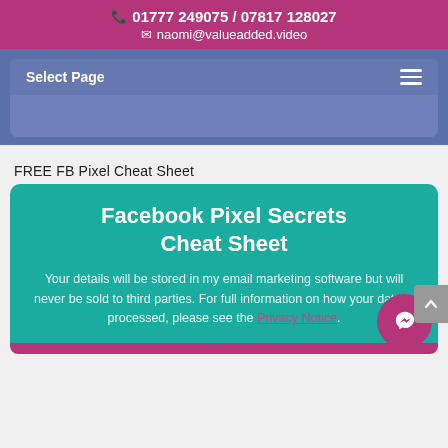📞 01777 249075 / 07817 128027 ✉ naomi@valueadded.video
Select Page
FREE FB Pixel Cheat Sheet
Facebook Pixel Secrets Cheat Sheet
Your details will be stored in my email marketing software but will never be sold to third parties. For full information on how your data is processed, please see the Privacy Notice.